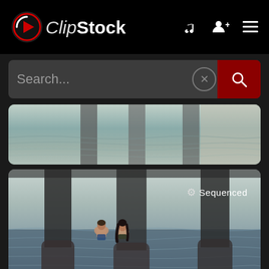ClipStock
[Figure (screenshot): Search bar with 'Search...' placeholder text, X button, and red search button]
[Figure (photo): Partial photo of water/beach scene cropped from top]
[Figure (photo): Two people standing in water under a pier with large wooden pillars, with 'Sequenced' overlay text]